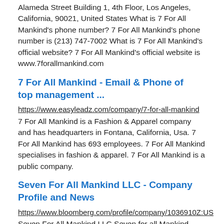Alameda Street Building 1, 4th Floor, Los Angeles, California, 90021, United States What is 7 For All Mankind's phone number? 7 For All Mankind's phone number is (213) 747-7002 What is 7 For All Mankind's official website? 7 For All Mankind's official website is www.7forallmankind.com
7 For All Mankind - Email & Phone of top management ...
https://www.easyleadz.com/company/7-for-all-mankind
7 For All Mankind is a Fashion & Apparel company and has headquarters in Fontana, California, Usa. 7 For All Mankind has 693 employees. 7 For All Mankind specialises in fashion & apparel. 7 For All Mankind is a public company.
Seven For All Mankind LLC - Company Profile and News
https://www.bloomberg.com/profile/company/1036910Z:US
Seven For All Mankind LLC Seven for all Mankind, LLC